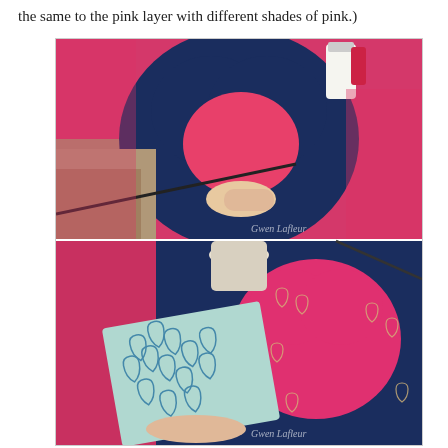the same to the pink layer with different shades of pink.)
[Figure (photo): Two craft/art tutorial photos showing painting of a heart design. Top photo: a hand holding a paintbrush painting a dark navy blue heart shape over a bright pink/coral background on a canvas. Art supplies visible in background. Bottom photo: a heart-shaped stencil with small hearts being used on the same canvas artwork, showing stenciled heart patterns on the navy blue area. Watermark 'Gwen Lafleur' visible on both images.]